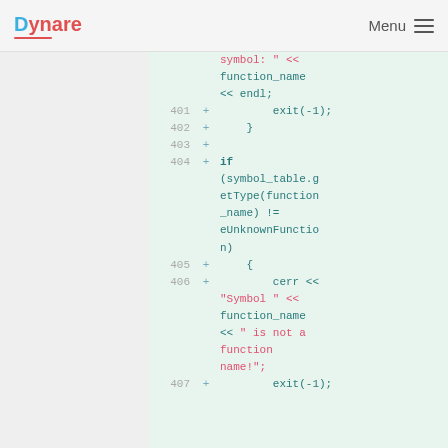Dynare  Menu
[Figure (screenshot): Code diff view showing C++ source code lines 401-407 with green background. Lines show exit(-1), closing brace, blank line, if statement with symbol_table.getType(function_name) != eUnknownFunction condition, opening brace, cerr output with string literals and function_name variable, and exit(-1). String literals shown in red/pink, keywords in teal bold.]